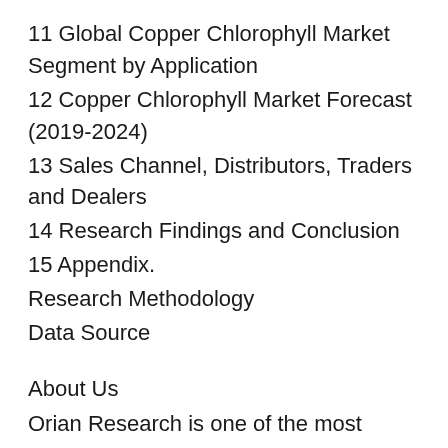11 Global Copper Chlorophyll Market Segment by Application
12 Copper Chlorophyll Market Forecast (2019-2024)
13 Sales Channel, Distributors, Traders and Dealers
14 Research Findings and Conclusion
15 Appendix.
Research Methodology
Data Source
About Us
Orian Research is one of the most comprehensive collections of market intelligence reports on the World Wide Web. Our reports repository boasts of over 500000+ industry and country research reports from over 100 top publishers. We continuously update our repository so as to provide our clients easy access to the world's most complete and